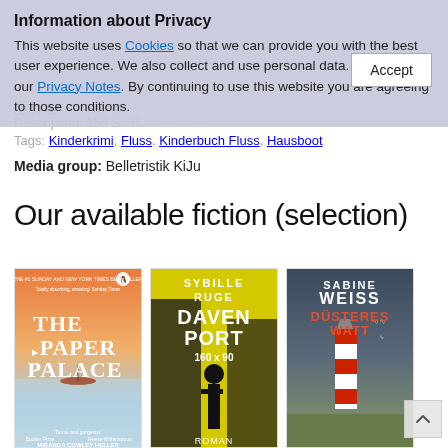Information about Privacy
This website uses Cookies so that we can provide you with the best user experience. We also collect and use personal data. Please see our Privacy Notes. By continuing to use this website you are agreeing to those conditions.
Description: 158 S.: Ill.
Tags: Kinderkrimi, Fluss, Kinderbuch Fluss, Hausboot
Media group: Belletristik KiJu
Our available fiction (selection)
[Figure (photo): Book cover: The Paper Palace by Miranda Cowley Heller — sunset gradient background with a small boat on water]
[Figure (photo): Book cover: Davenport 160x90 by Sybille Ruge — yellow background with silhouette of person]
[Figure (photo): Book cover: Düsteres Watt by Sabine Weiss — lighthouse against stormy sky]